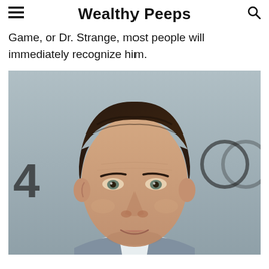Wealthy Peeps
Game, or Dr. Strange, most people will immediately recognize him.
[Figure (photo): Close-up portrait photo of a man with dark hair in a grey suit with white shirt, photographed at an event with a blurred background showing partial letters/logos]